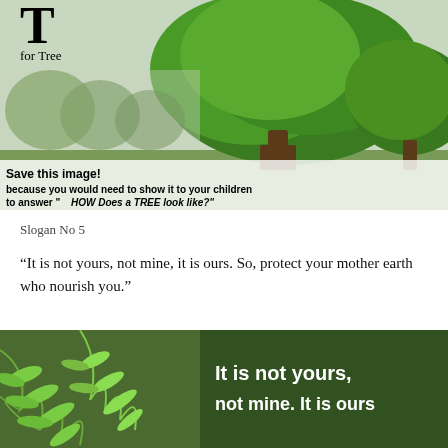[Figure (photo): Green trees in a park with lush foliage. Overlaid text reads: 'Save this image! because you would need to show it to your children to answer HOW Does a TREE look like?' with a large letter T and 'for Tree' label in the top-left corner.]
Slogan No 5
“It is not yours, not mine, it is ours. So, protect your mother earth who nourish you.”
[Figure (photo): Green fern leaves with bold white text overlay reading: 'It is not yours, not mine. It is ours']